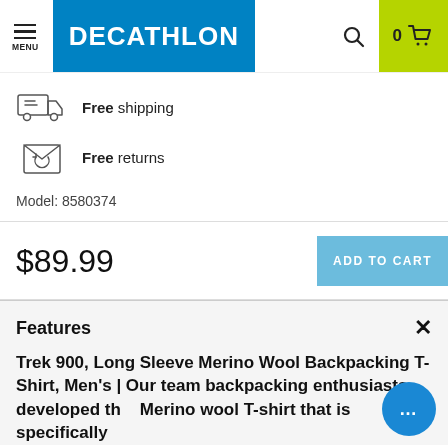DECATHLON — Menu, Search, Cart (0)
Free shipping
Free returns
Model: 8580374
$89.99
ADD TO CART
Features
Trek 900, Long Sleeve Merino Wool Backpacking T-Shirt, Men's | Our team backpacking enthusiasts developed th... Merino wool T-shirt that is specifically